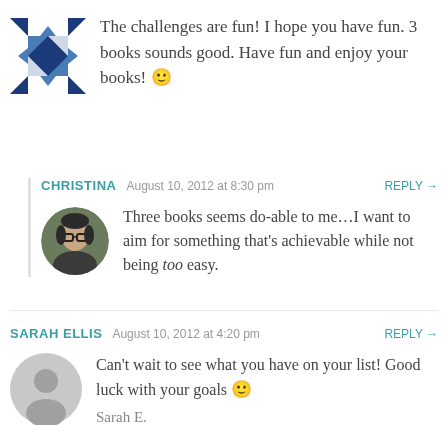The challenges are fun! I hope you have fun. 3 books sounds good. Have fun and enjoy your books! 🙂
CHRISTINA  August 10, 2012 at 8:30 pm  REPLY →
Three books seems do-able to me...I want to aim for something that's achievable while not being too easy.
SARAH ELLIS  August 10, 2012 at 4:20 pm  REPLY →
Can't wait to see what you have on your list! Good luck with your goals 🙂
Sarah E.